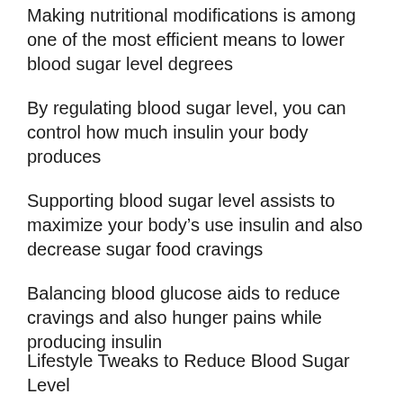Making nutritional modifications is among one of the most efficient means to lower blood sugar level degrees
By regulating blood sugar level, you can control how much insulin your body produces
Supporting blood sugar level assists to maximize your body’s use insulin and also decrease sugar food cravings
Balancing blood glucose aids to reduce cravings and also hunger pains while producing insulin
Lifestyle Tweaks to Reduce Blood Sugar Level